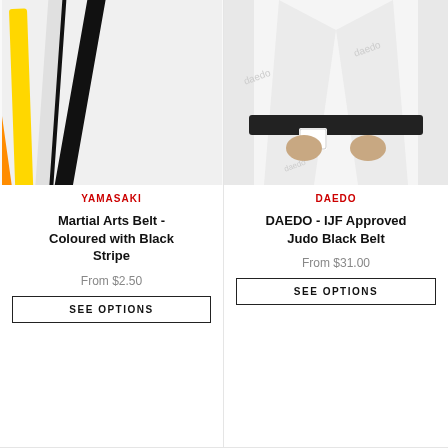[Figure (photo): Multiple colorful martial arts belts fanned out including red, brown, green, purple, blue, orange, yellow, white, and black stripe]
YAMASAKI
Martial Arts Belt - Coloured with Black Stripe
From $2.50
SEE OPTIONS
[Figure (photo): Person wearing white judo gi with a black belt tied around the waist, with a small badge/patch visible. Background has watermark text 'Daedo'.]
DAEDO
DAEDO - IJF Approved Judo Black Belt
From $31.00
SEE OPTIONS
[Figure (photo): Bottom partial view of a product, appears to be a red martial arts item]
[Figure (photo): Bottom partial view of a product, light colored]